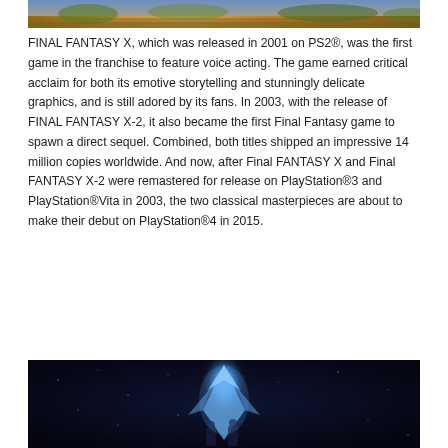[Figure (photo): Screenshot from Final Fantasy X showing a golden outdoor scene with characters]
FINAL FANTASY X, which was released in 2001 on PS2®, was the first game in the franchise to feature voice acting. The game earned critical acclaim for both its emotive storytelling and stunningly delicate graphics, and is still adored by its fans. In 2003, with the release of FINAL FANTASY X-2, it also became the first Final Fantasy game to spawn a direct sequel. Combined, both titles shipped an impressive 14 million copies worldwide. And now, after Final FANTASY X and Final FANTASY X-2 were remastered for release on PlayStation®3 and PlayStation®Vita in 2003, the two classical masterpieces are about to make their debut on PlayStation®4 in 2015.
[Figure (photo): Screenshot from Final Fantasy X showing a dark blue scene with a glowing blue crystal/energy effect and characters]